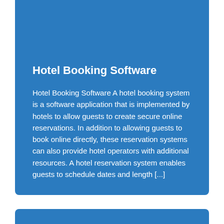Hotel Booking Software
Hotel Booking Software A hotel booking system is a software application that is implemented by hotels to allow guests to create secure online reservations. In addition to allowing guests to book online directly, these reservation systems can also provide hotel operators with additional resources. A hotel reservation system enables guests to schedule dates and length [...]